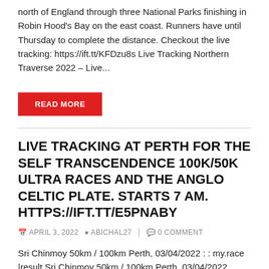north of England through three National Parks finishing in Robin Hood's Bay on the east coast. Runners have until Thursday to complete the distance. Checkout the live tracking: https://ift.tt/KFDzu8s Live Tracking Northern Traverse 2022 – Live...
READ MORE
LIVE TRACKING AT PERTH FOR THE SELF TRANSCENDENCE 100K/50K ULTRA RACES AND THE ANGLO CELTIC PLATE. STARTS 7 AM. HTTPS://IFT.TT/E5PNABY
APRIL 3, 2022   ABICHAL27   0 COMMENT
Sri Chinmoy 50km / 100km Perth, 03/04/2022 : : my.race |result Sri Chinmoy 50km / 100km Perth, 03/04/2022, Perth More info @ https://ift.tt/E152vpD Automated post from Ultrarunning World... https://ift.tt/iGxbo60 April 03, 2022 at 06:57AM